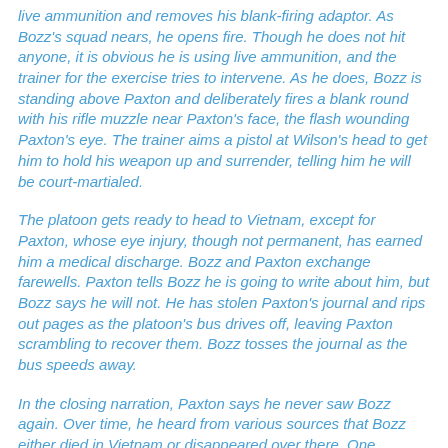live ammunition and removes his blank-firing adaptor. As Bozz's squad nears, he opens fire. Though he does not hit anyone, it is obvious he is using live ammunition, and the trainer for the exercise tries to intervene. As he does, Bozz is standing above Paxton and deliberately fires a blank round with his rifle muzzle near Paxton's face, the flash wounding Paxton's eye. The trainer aims a pistol at Wilson's head to get him to hold his weapon up and surrender, telling him he will be court-martialed.
The platoon gets ready to head to Vietnam, except for Paxton, whose eye injury, though not permanent, has earned him a medical discharge. Bozz and Paxton exchange farewells. Paxton tells Bozz he is going to write about him, but Bozz says he will not. He has stolen Paxton's journal and rips out pages as the platoon's bus drives off, leaving Paxton scrambling to recover them. Bozz tosses the journal as the bus speeds away.
In the closing narration, Paxton says he never saw Bozz again. Over time, he heard from various sources that Bozz either died in Vietnam or disappeared over there. One